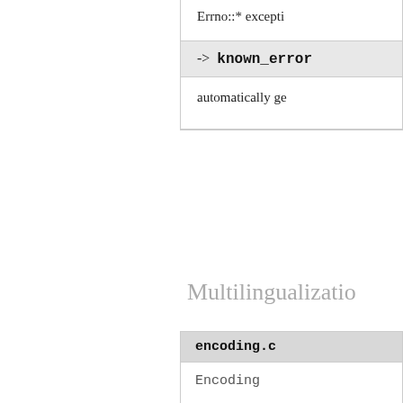Errno::* excepti
-> known_error
automatically ge
Multilingualizatio
| encoding.c |
| --- |
| Encoding |
| transcode.c |
| --- |
| Encoding::Con |